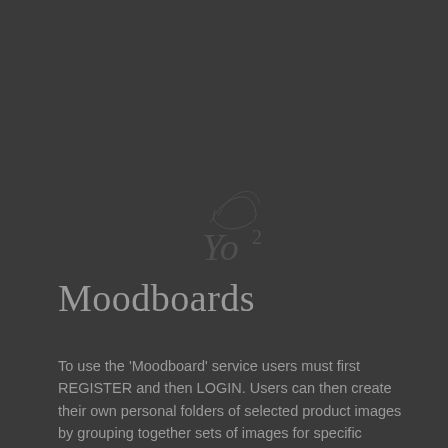[Figure (logo): Watermark logo featuring stylized 'Yo²' text with decorative script above it, rendered in a faint grey on dark background]
Moodboards
To use the 'Moodboard' service users must first REGISTER and then LOGIN. Users can then create their own personal folders of selected product images by grouping together sets of images for specific projects in the 'MY MOODBOARDS' page.